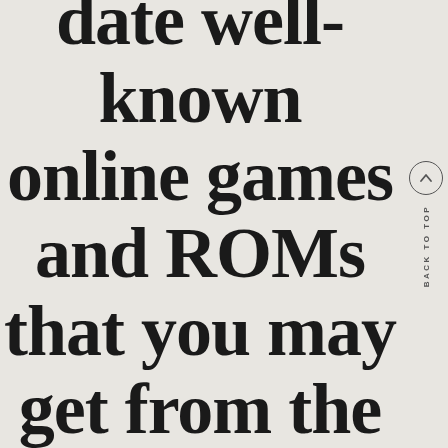date well-known online games and ROMs that you may get from the internet
BACK TO TOP